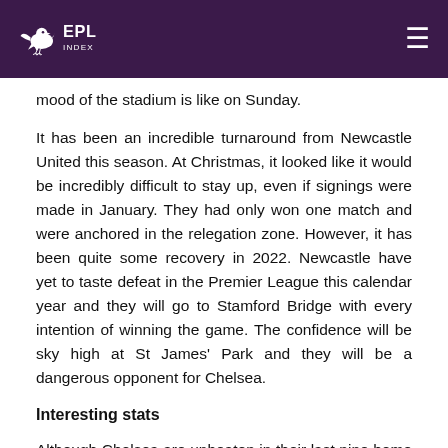EPL Index
mood of the stadium is like on Sunday.
It has been an incredible turnaround from Newcastle United this season. At Christmas, it looked like it would be incredibly difficult to stay up, even if signings were made in January. They had only won one match and were anchored in the relegation zone. However, it has been quite some recovery in 2022. Newcastle have yet to taste defeat in the Premier League this calendar year and they will go to Stamford Bridge with every intention of winning the game. The confidence will be sky high at St James' Park and they will be a dangerous opponent for Chelsea.
Interesting stats
Although Chelsea are unbeaten in their last nine home Premier League matches, they have only won four of their last ten at Stamford Bridge.
In 2022, only Liverpool have won more Premier League